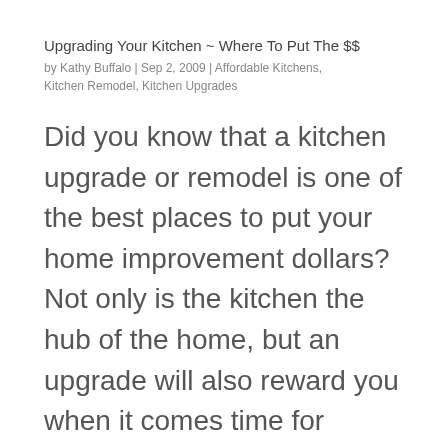Upgrading Your Kitchen ~ Where To Put The $$
by Kathy Buffalo | Sep 2, 2009 | Affordable Kitchens, Kitchen Remodel, Kitchen Upgrades
Did you know that a kitchen upgrade or remodel is one of the best places to put your home improvement dollars? Not only is the kitchen the hub of the home, but an upgrade will also reward you when it comes time for resale. Though there are plenty of men doing the...